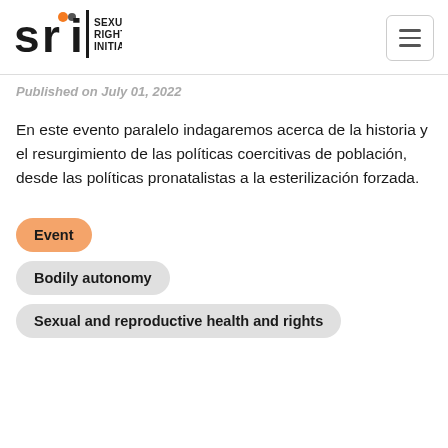SRI Sexual Rights Initiative
Published on July 01, 2022
En este evento paralelo indagaremos acerca de la historia y el resurgimiento de las políticas coercitivas de población, desde las políticas pronatalistas a la esterilización forzada.
Event
Bodily autonomy
Sexual and reproductive health and rights